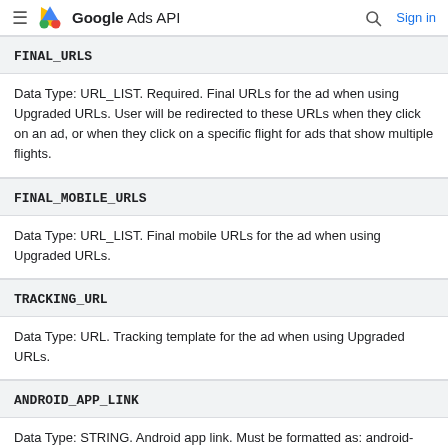Google Ads API
FINAL_URLS
Data Type: URL_LIST. Required. Final URLs for the ad when using Upgraded URLs. User will be redirected to these URLs when they click on an ad, or when they click on a specific flight for ads that show multiple flights.
FINAL_MOBILE_URLS
Data Type: URL_LIST. Final mobile URLs for the ad when using Upgraded URLs.
TRACKING_URL
Data Type: URL. Tracking template for the ad when using Upgraded URLs.
ANDROID_APP_LINK
Data Type: STRING. Android app link. Must be formatted as: android-app://{package_id}/{scheme}/{host_path}. The